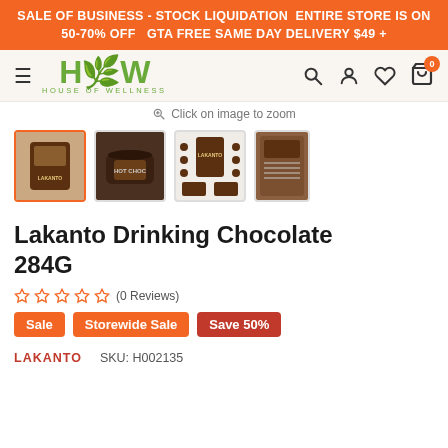SALE OF BUSINESS - STOCK LIQUIDATION  ENTIRE STORE IS ON 50-70% OFF   GTA FREE SAME DAY DELIVERY $49 +
[Figure (screenshot): House of Wellness (HOW) navigation bar with hamburger menu, green HOW logo, search, account, wishlist, and cart icons]
Click on image to zoom
[Figure (photo): Product thumbnail images: 4 thumbnails of Lakanto Drinking Chocolate 284G product showing front, mug, info panel, and back of package]
Lakanto Drinking Chocolate 284G
☆☆☆☆☆ (0 Reviews)
Sale   Storewide Sale   Save 50%
LAKANTO   SKU: H002135